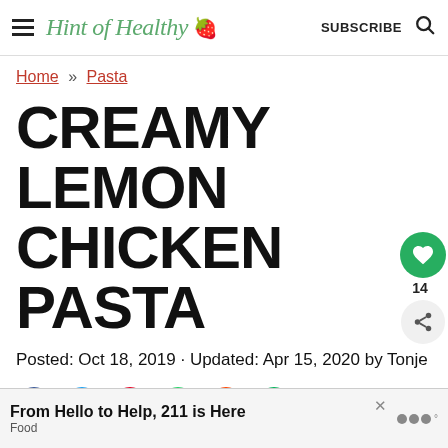Hint of Healthy 🍓  SUBSCRIBE
Home » Pasta
CREAMY LEMON CHICKEN PASTA
Posted: Oct 18, 2019 · Updated: Apr 15, 2020 by Tonje
[Figure (other): Social share buttons row: Facebook (blue), Twitter (light blue), Pinterest (red), WhatsApp (green), Reddit (orange), other (green)]
From Hello to Help, 211 is Here
Food